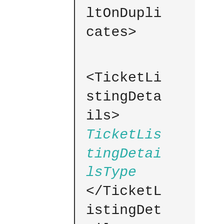|  | Content |
| --- | --- |
|  | ltOnDuplicates> |
|  | <TicketListingDetails>
TicketListingDetailsType
</TicketListingDetails> |
|  | <UPC>
string
</UPC> |
|  | <UseFirstProduct>
boolean
</UseFirstProduct> |